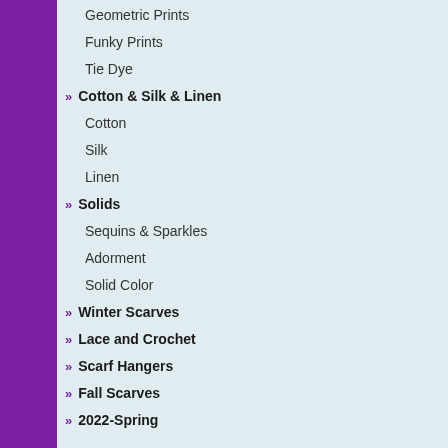Geometric Prints
Funky Prints
Tie Dye
Cotton & Silk & Linen
Cotton
Silk
Linen
Solids
Sequins & Sparkles
Adorment
Solid Color
Winter Scarves
Lace and Crochet
Scarf Hangers
Fall Scarves
2022-Spring
Newsletter Sign Up
Subscribe to our Newsletter
[Figure (photo): Multi-color striped scarf product photo with brown, red, cream, and tan horizontal stripes]
You need to be a registered member. to your account or click he...
Description
Multi-Color Random Stripes Desig...
Browse Similar Items
Scarves under $5